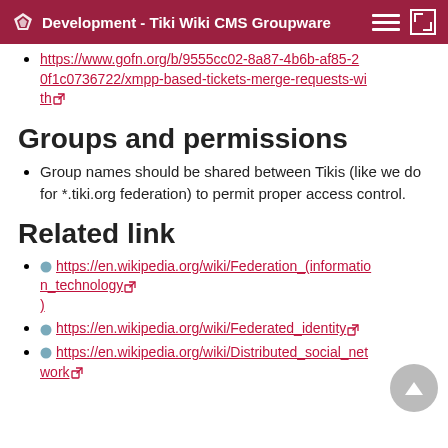Development - Tiki Wiki CMS Groupware
https://www.gofn.org/b/9555cc02-8a87-4b6b-af85-20f1c0736722/xmpp-based-tickets-merge-requests-with
Groups and permissions
Group names should be shared between Tikis (like we do for *.tiki.org federation) to permit proper access control.
Related link
https://en.wikipedia.org/wiki/Federation_(information_technology)
https://en.wikipedia.org/wiki/Federated_identity
https://en.wikipedia.org/wiki/Distributed_social_network